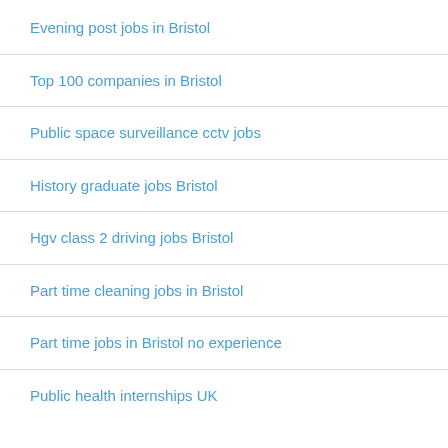Evening post jobs in Bristol
Top 100 companies in Bristol
Public space surveillance cctv jobs
History graduate jobs Bristol
Hgv class 2 driving jobs Bristol
Part time cleaning jobs in Bristol
Part time jobs in Bristol no experience
Public health internships UK